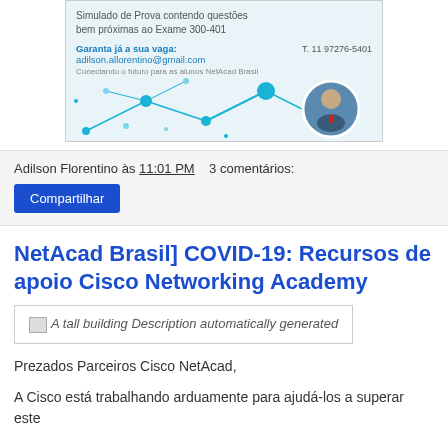[Figure (infographic): Advertisement banner for a Cisco networking course by Adilson Florentino with contact details (T. 11 97276-5401, adilson.allorentino@gmail.com) and a decorative network nodes graphic with a photo of a man.]
Adilson Florentino às 11:01 PM    3 comentários:
Compartilhar
NetAcad Brasil] COVID-19: Recursos de apoio Cisco Networking Academy
[Figure (photo): A tall building Description automatically generated]
Prezados Parceiros Cisco NetAcad,
A Cisco está trabalhando arduamente para ajudá-los a superar este